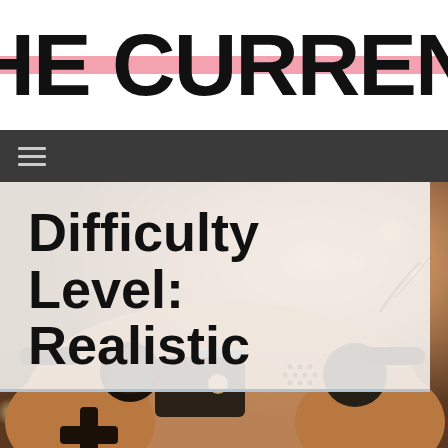THE CURRENT
[Figure (photo): Navigation bar with dark background and hamburger menu icon]
[Figure (photo): Close-up photo of a rose gold PlayStation 4 DualShock controller on a surface with bokeh light background]
Difficulty Level: Realistic